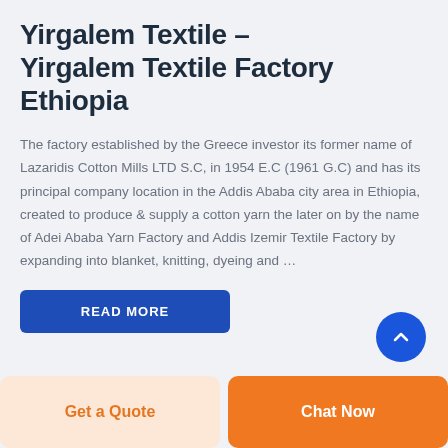Yirgalem Textile – Yirgalem Textile Factory Ethiopia
The factory established by the Greece investor its former name of Lazaridis Cotton Mills LTD S.C, in 1954 E.C (1961 G.C) and has its principal company location in the Addis Ababa city area in Ethiopia, created to produce & supply a cotton yarn the later on by the name of Adei Ababa Yarn Factory and Addis Izemir Textile Factory by expanding into blanket, knitting, dyeing and …
READ MORE
Get a Quote
Chat Now